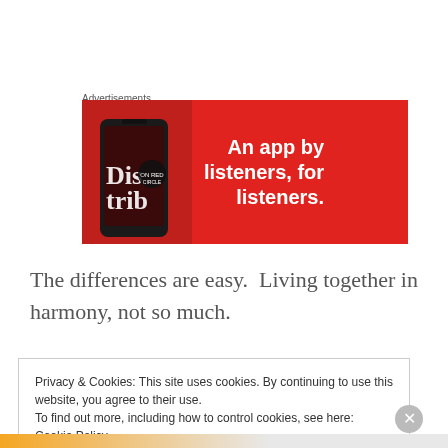Advertisements
[Figure (illustration): Red advertisement banner for a music/podcast app showing a smartphone with 'Distrib' text on screen and white bold text: 'An app by listeners, for listeners.']
The differences are easy.  Living together in harmony, not so much.
Privacy & Cookies: This site uses cookies. By continuing to use this website, you agree to their use.
To find out more, including how to control cookies, see here: Cookie Policy
Close and accept